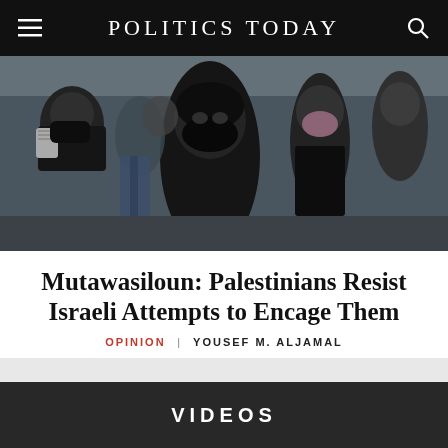POLITICS TODAY
[Figure (photo): Protest scene with people wearing black face masks and keffiyeh scarves, outdoors in a crowd]
Mutawasiloun: Palestinians Resist Israeli Attempts to Encage Them
OPINION | YOUSEF M. ALJAMAL
VIDEOS
[Figure (photo): Bottom strip showing a dark/cloudy outdoor scene]